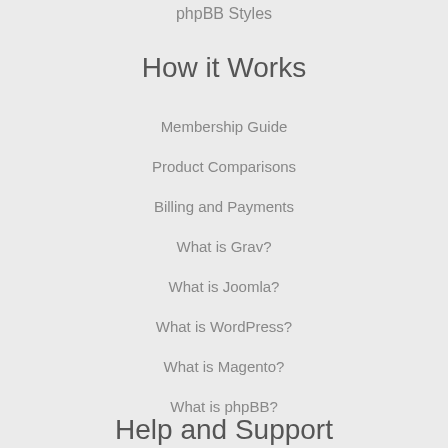phpBB Styles
How it Works
Membership Guide
Product Comparisons
Billing and Payments
What is Grav?
What is Joomla?
What is WordPress?
What is Magento?
What is phpBB?
Help and Support